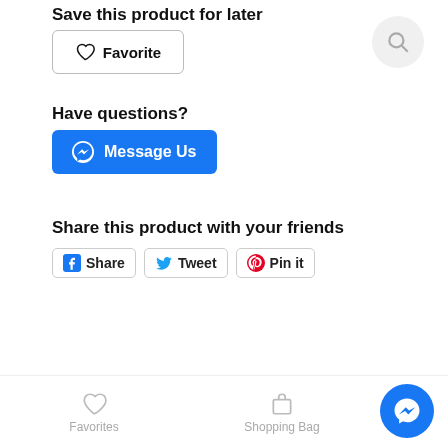Save this product for later
Favorite
Have questions?
Message Us
Share this product with your friends
Share  Tweet  Pin it
Favorites  Shopping Bag